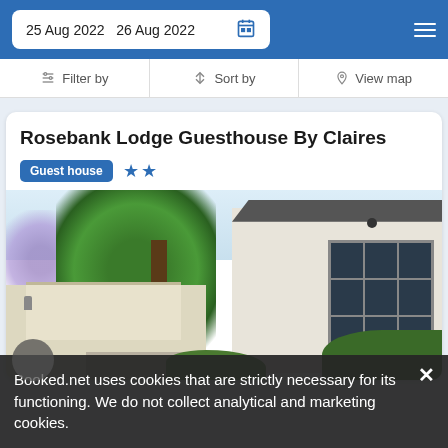25 Aug 2022  26 Aug 2022
Filter by  Sort by  View map
Rosebank Lodge Guesthouse By Claires
Guest house ★★
[Figure (photo): Exterior photo of Rosebank Lodge Guesthouse By Claires showing a white building with large windows, trees, carport and garden]
Booked.net uses cookies that are strictly necessary for its functioning. We do not collect analytical and marketing cookies.